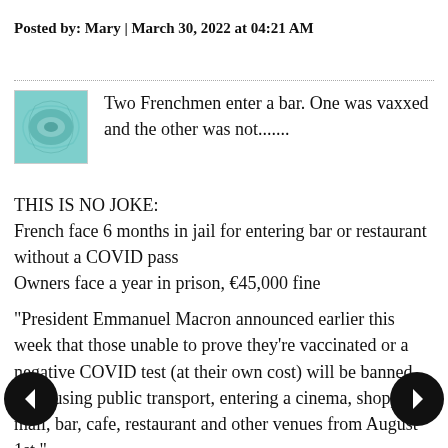Posted by: Mary | March 30, 2022 at 04:21 AM
[Figure (illustration): Teal/cyan patterned avatar thumbnail image]
Two Frenchmen enter a bar. One was vaxxed and the other was not.......
THIS IS NO JOKE:
French face 6 months in jail for entering bar or restaurant without a COVID pass
Owners face a year in prison, €45,000 fine
"President Emmanuel Macron announced earlier this week that those unable to prove they're vaccinated or a negative COVID test (at their own cost) will be banned from using public transport, entering a cinema, shopping mall, bar, cafe, restaurant and other venues from August 1st."